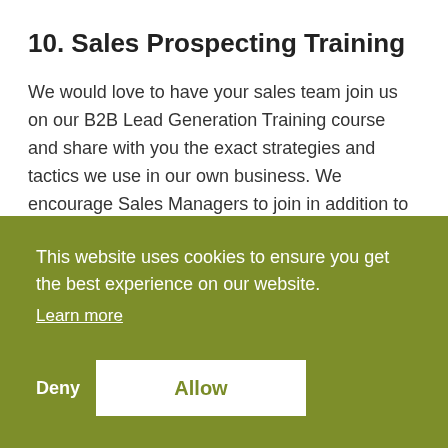10. Sales Prospecting Training
We would love to have your sales team join us on our B2B Lead Generation Training course and share with you the exact strategies and tactics we use in our own business.  We encourage Sales Managers to join in addition to ales teams so they can reinforce the new skills we teach throughout the selling process
This website uses cookies to ensure you get the best experience on our website.
Learn more
Deny
Allow